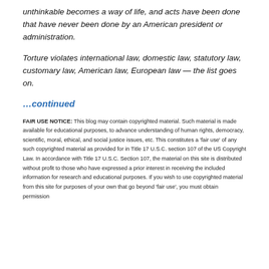unthinkable becomes a way of life, and acts have been done that have never been done by an American president or administration.
Torture violates international law, domestic law, statutory law, customary law, American law, European law — the list goes on.
…continued
FAIR USE NOTICE: This blog may contain copyrighted material. Such material is made available for educational purposes, to advance understanding of human rights, democracy, scientific, moral, ethical, and social justice issues, etc. This constitutes a 'fair use' of any such copyrighted material as provided for in Title 17 U.S.C. section 107 of the US Copyright Law. In accordance with Title 17 U.S.C. Section 107, the material on this site is distributed without profit to those who have expressed a prior interest in receiving the included information for research and educational purposes. If you wish to use copyrighted material from this site for purposes of your own that go beyond 'fair use', you must obtain permission